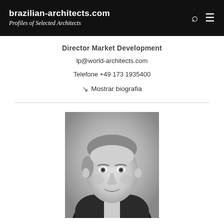brazilian-architects.com — Profiles of Selected Architects
Director Market Development
lp@world-architects.com
Telefone +49 173 1935400
↘ Mostrar biografia
[Figure (photo): Black and white headshot portrait of a middle-aged man in a suit, smiling slightly, with short hair]